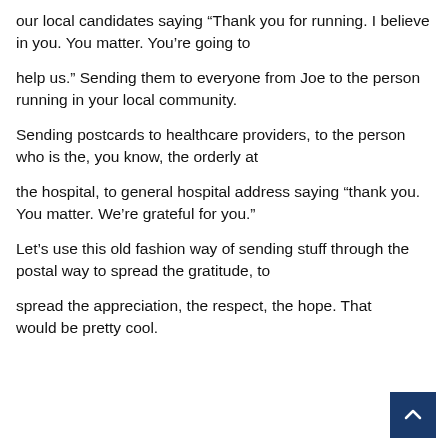our local candidates saying “Thank you for running. I believe in you. You matter. You’re going to
help us.” Sending them to everyone from Joe to the person running in your local community.
Sending postcards to healthcare providers, to the person who is the, you know, the orderly at
the hospital, to general hospital address saying “thank you. You matter. We’re grateful for you.”
Let’s use this old fashion way of sending stuff through the postal way to spread the gratitude, to
spread the appreciation, the respect, the hope. That would be pretty cool.